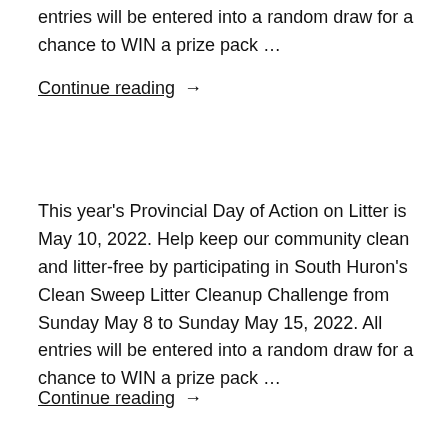entries will be entered into a random draw for a chance to WIN a prize pack …
Continue reading →
This year's Provincial Day of Action on Litter is May 10, 2022. Help keep our community clean and litter-free by participating in South Huron's Clean Sweep Litter Cleanup Challenge from Sunday May 8 to Sunday May 15, 2022. All entries will be entered into a random draw for a chance to WIN a prize pack …
Continue reading →